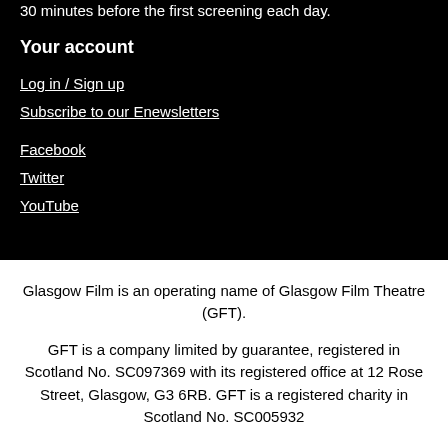30 minutes before the first screening each day.
Your account
Log in / Sign up
Subscribe to our Enewsletters
Facebook
Twitter
YouTube
Glasgow Film is an operating name of Glasgow Film Theatre (GFT).
GFT is a company limited by guarantee, registered in Scotland No. SC097369 with its registered office at 12 Rose Street, Glasgow, G3 6RB. GFT is a registered charity in Scotland No. SC005932